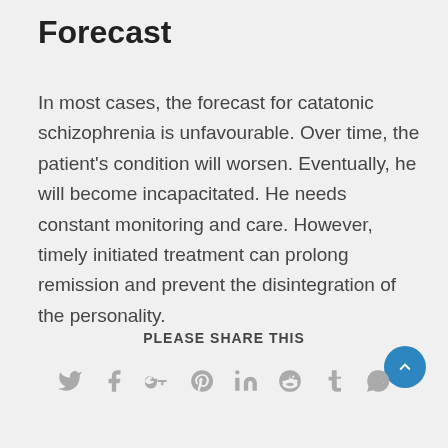Forecast
In most cases, the forecast for catatonic schizophrenia is unfavourable. Over time, the patient's condition will worsen. Eventually, he will become incapacitated. He needs constant monitoring and care. However, timely initiated treatment can prolong remission and prevent the disintegration of the personality.
PLEASE SHARE THIS